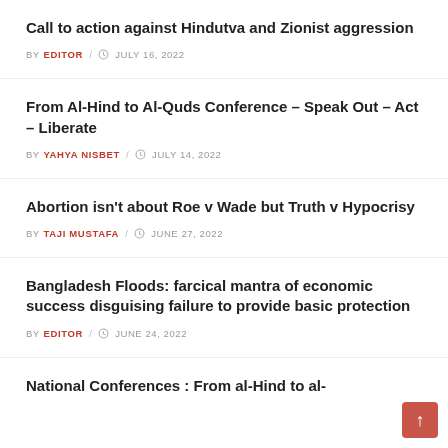Call to action against Hindutva and Zionist aggression
BY EDITOR / JULY 16, 2022
From Al-Hind to Al-Quds Conference – Speak Out – Act – Liberate
BY YAHYA NISBET / JULY 14, 2022
Abortion isn't about Roe v Wade but Truth v Hypocrisy
BY TAJI MUSTAFA / JUNE 27, 2022
Bangladesh Floods: farcical mantra of economic success disguising failure to provide basic protection
BY EDITOR / JUNE 24, 2022
National Conferences : From al-Hind to al-